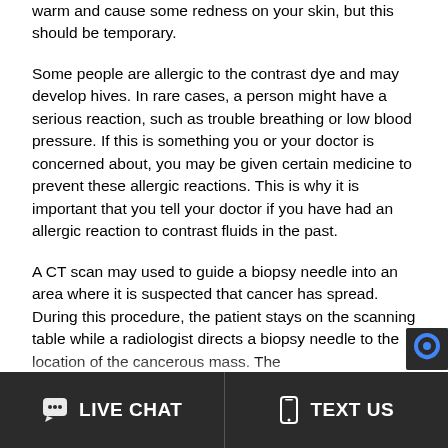warm and cause some redness on your skin, but this should be temporary.
Some people are allergic to the contrast dye and may develop hives. In rare cases, a person might have a serious reaction, such as trouble breathing or low blood pressure. If this is something you or your doctor is concerned about, you may be given certain medicine to prevent these allergic reactions. This is why it is important that you tell your doctor if you have had an allergic reaction to contrast fluids in the past.
A CT scan may used to guide a biopsy needle into an area where it is suspected that cancer has spread. During this procedure, the patient stays on the scanning table while a radiologist directs a biopsy needle to the location of the cancerous mass. The scan will be repeated until the doctor is sure that th...
LIVE CHAT   TEXT US